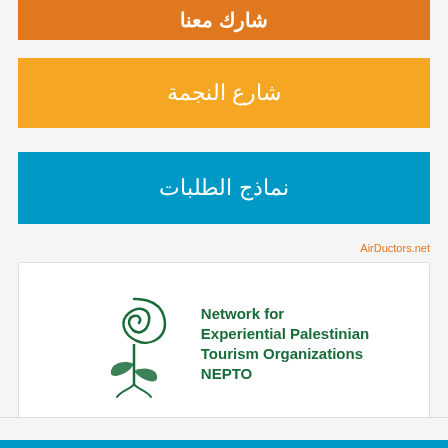شارك معنا
شارع النجمة
نماذج الطلبات
AirDoctors.net
[Figure (logo): NEPTO logo — Network for Experiential Palestinian Tourism Organizations with green spiral tree emblem]